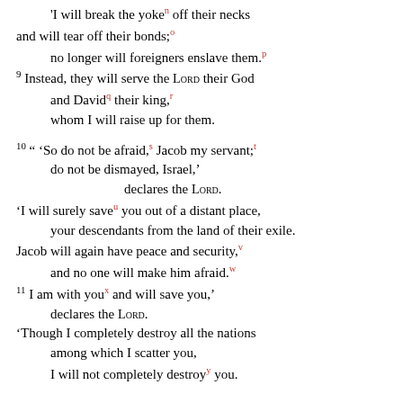'I will break the yoke[n] off their necks and will tear off their bonds;[o] no longer will foreigners enslave them.[p] 9 Instead, they will serve the LORD their God and David[q] their king,[r] whom I will raise up for them.

10 " 'So do not be afraid,[s] Jacob my servant;[t] do not be dismayed, Israel,' declares the LORD. 'I will surely save[u] you out of a distant place, your descendants from the land of their exile. Jacob will again have peace and security,[v] and no one will make him afraid.[w] 11 I am with you[x] and will save you,' declares the LORD. 'Though I completely destroy all the nations among which I scatter you, I will not completely destroy[y] you.